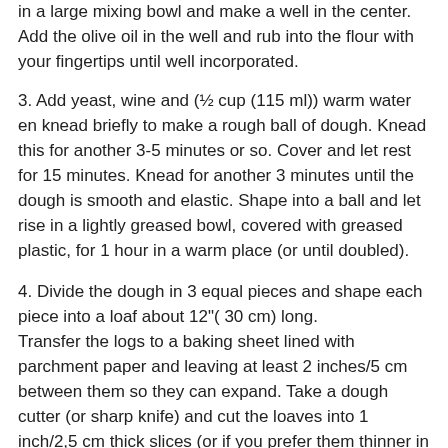in a large mixing bowl and make a well in the center. Add the olive oil in the well and rub into the flour with your fingertips until well incorporated.
3. Add yeast, wine and (½ cup (115 ml)) warm water en knead briefly to make a rough ball of dough. Knead this for another 3-5 minutes or so. Cover and let rest for 15 minutes. Knead for another 3 minutes until the dough is smooth and elastic. Shape into a ball and let rise in a lightly greased bowl, covered with greased plastic, for 1 hour in a warm place (or until doubled).
4. Divide the dough in 3 equal pieces and shape each piece into a loaf about 12"( 30 cm) long. Transfer the logs to a baking sheet lined with parchment paper and leaving at least 2 inches/5 cm between them so they can expand. Take a dough cutter (or sharp knife) and cut the loaves into 1 inch/2,5 cm thick slices (or if you prefer them thinner in 1"/1 cm slices). Cover with greased plastic and let the rise for about 45 minutes.
Meanwhile preheat the oven to 500ºF/260ºC.